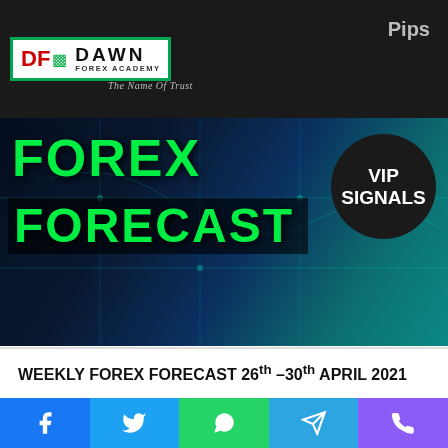[Figure (logo): Dawn Forex Academy logo with green border, DF initials in red, bar chart icon, DAWN FOREX ACADEMY text, tagline 'The Name Of Trust']
[Figure (photo): Weekly Forex Forecast promotional banner image with green text FOREX FORECAST on dark blue background with teal circuit-like patterns, VIP SIGNALS circle badge, and Pips text]
WEEKLY FOREX FORECAST 26th -30th APRIL 2021
Related Articles
[Figure (photo): Weekly Forex Forecast thumbnail with 153 Pips made last week in VIP Group, candlestick chart with magnifying glass]
[Figure (photo): Weekly Forex Forecast thumbnail with 410 Pips made last week in VIP Group, candlestick chart with magnifying glass]